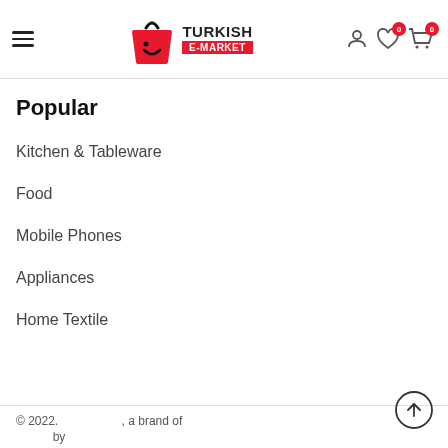[Figure (logo): Turkish E-Market logo with red shopping bag and text]
Popular
Kitchen & Tableware
Food
Mobile Phones
Appliances
Home Textile
© 2022.   , a brand of   by